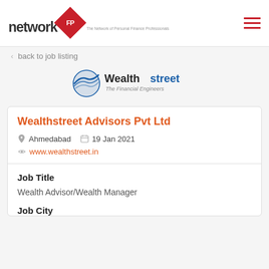networkFP — The Network of Personal Finance Professionals
< back to job listing
[Figure (logo): Wealthstreet – The Financial Engineers company logo with blue circular wave icon]
Wealthstreet Advisors Pvt Ltd
Ahmedabad   19 Jan 2021
www.wealthstreet.in
Job Title
Wealth Advisor/Wealth Manager
Job City